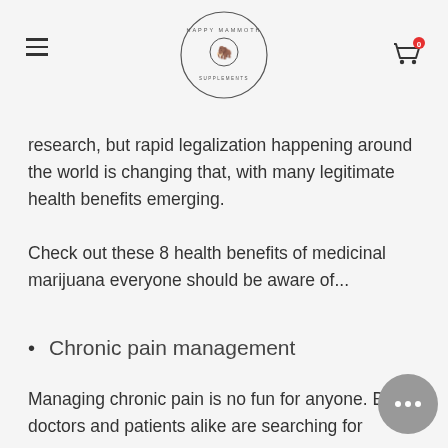Happy Mammoth logo with hamburger menu and cart icon
research, but rapid legalization happening around the world is changing that, with many legitimate health benefits emerging.
Check out these 8 health benefits of medicinal marijuana everyone should be aware of...
Chronic pain management
Managing chronic pain is no fun for anyone. But doctors and patients alike are searching for alternatives to addiction-minimizing or the